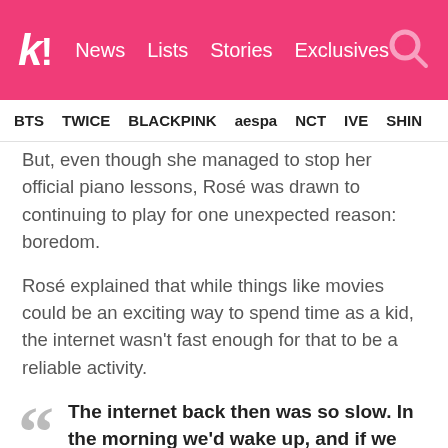k! News  Lists  Stories  Exclusives
BTS  TWICE  BLACKPINK  aespa  NCT  IVE  SHIN...
But, even though she managed to stop her official piano lessons, Rosé was drawn to continuing to play for one unexpected reason: boredom.
Rosé explained that while things like movies could be an exciting way to spend time as a kid, the internet wasn't fast enough for that to be a reliable activity.
The internet back then was so slow. In the morning we'd wake up, and if we wanted to watch a movie, we'd click 'download' and we'd have to wait, like,